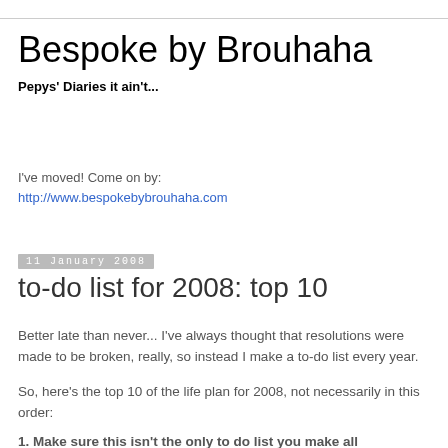Bespoke by Brouhaha
Pepys' Diaries it ain't...
I've moved! Come on by:
http://www.bespokebybrouhaha.com
11 January 2008
to-do list for 2008: top 10
Better late than never... I've always thought that resolutions were made to be broken, really, so instead I make a to-do list every year.
So, here's the top 10 of the life plan for 2008, not necessarily in this order:
1. Make sure this isn't the only to do list you make all